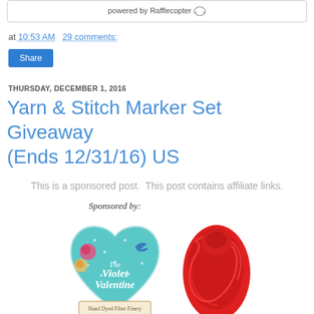powered by Rafflecopter
at 10:53 AM   29 comments:
Share
THURSDAY, DECEMBER 1, 2016
Yarn & Stitch Marker Set Giveaway (Ends 12/31/16) US
This is a sponsored post.  This post contains affiliate links.
[Figure (illustration): Sponsored by: The Violet Valentine Hand Dyed Fiber Finery logo (heart shape with roses and swallow bird, teal background) and a skein of bright red yarn on the right]